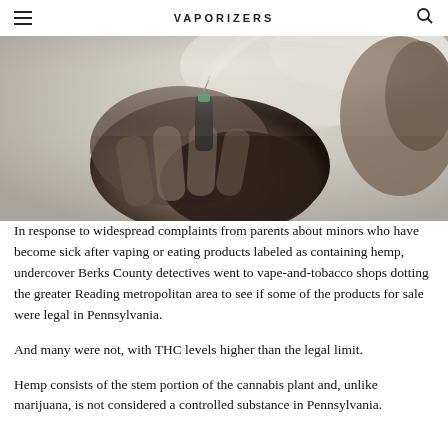VAPORIZERS
[Figure (photo): Close-up photo of a hand holding a vaporizer device with visible vapor/smoke]
In response to widespread complaints from parents about minors who have become sick after vaping or eating products labeled as containing hemp, undercover Berks County detectives went to vape-and-tobacco shops dotting the greater Reading metropolitan area to see if some of the products for sale were legal in Pennsylvania.
And many were not, with THC levels higher than the legal limit.
Hemp consists of the stem portion of the cannabis plant and, unlike marijuana, is not considered a controlled substance in Pennsylvania.